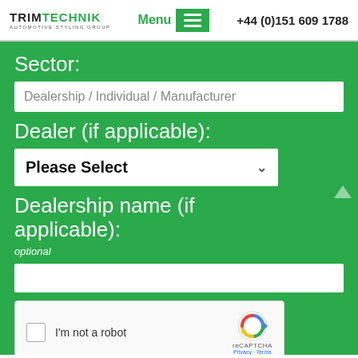TRIMTECHNIK AUTOMOTIVE STYLING GROUP | Menu | +44 (0)151 609 1788
Sector:
Dealership / Individual / Manufacturer
Dealer (if applicable):
Please Select
Dealership name (if applicable):
optional
[Figure (screenshot): reCAPTCHA widget with checkbox labeled I'm not a robot, reCAPTCHA logo, Privacy and Terms links]